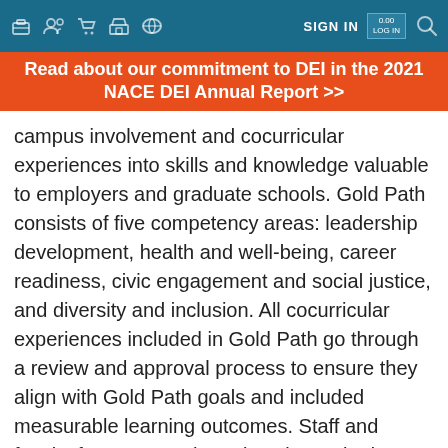SIGN IN
Read about our commitment to DEI in the 2021 NACE DEI Annual Report >>
campus involvement and cocurricular experiences into skills and knowledge valuable to employers and graduate schools. Gold Path consists of five competency areas: leadership development, health and well-being, career readiness, civic engagement and social justice, and diversity and inclusion. All cocurricular experiences included in Gold Path go through a review and approval process to ensure they align with Gold Path goals and included measurable learning outcomes. Staff and faculty from across the university worked to identify a core set of student development theories and learning outcomes for each competency area. This session will highlight the process of selecting core theories and writing learning outcomes for the career readiness